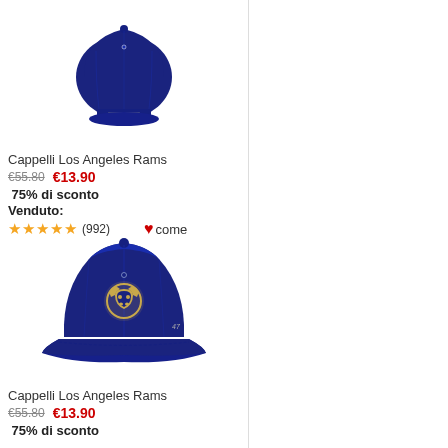[Figure (photo): Blue Los Angeles Rams cap, back view, small size]
Cappelli Los Angeles Rams
€55.80  €13.90
75% di sconto
Venduto:
★★★★★ (992)  ♥ come
[Figure (photo): Blue Los Angeles Rams cap, front view with gold ram logo, '47 brand]
Cappelli Los Angeles Rams
€55.80  €13.90
75% di sconto